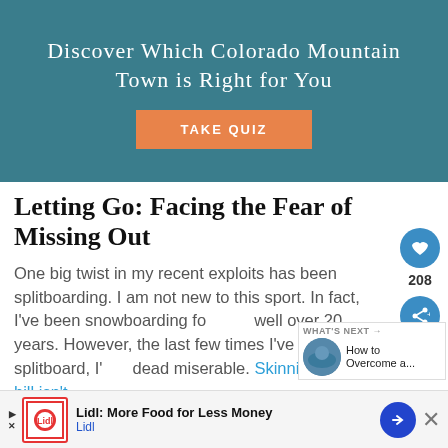[Figure (infographic): Promotional banner with teal background showing text 'Discover Which Colorado Mountain Town is Right for You' with a 'TAKE QUIZ' orange button]
Letting Go: Facing the Fear of Missing Out
One big twist in my recent exploits has been splitboarding. I am not new to this sport. In fact, I've been snowboarding for well over 20 years. However, the last few times I've been on a splitboard, I've been dead miserable. Skinning up the hill isn't so bad. Like skinning to the...
[Figure (infographic): Advertisement bar at bottom: Lidl: More Food for Less Money, Lidl]